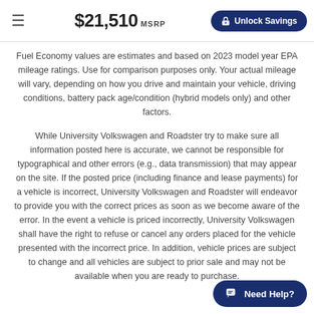$21,510 MSRP  Unlock Savings
Fuel Economy values are estimates and based on 2023 model year EPA mileage ratings. Use for comparison purposes only. Your actual mileage will vary, depending on how you drive and maintain your vehicle, driving conditions, battery pack age/condition (hybrid models only) and other factors.
While University Volkswagen and Roadster try to make sure all information posted here is accurate, we cannot be responsible for typographical and other errors (e.g., data transmission) that may appear on the site. If the posted price (including finance and lease payments) for a vehicle is incorrect, University Volkswagen and Roadster will endeavor to provide you with the correct prices as soon as we become aware of the error. In the event a vehicle is priced incorrectly, University Volkswagen shall have the right to refuse or cancel any orders placed for the vehicle presented with the incorrect price. In addition, vehicle prices are subject to change and all vehicles are subject to prior sale and may not be available when you are ready to purchase.